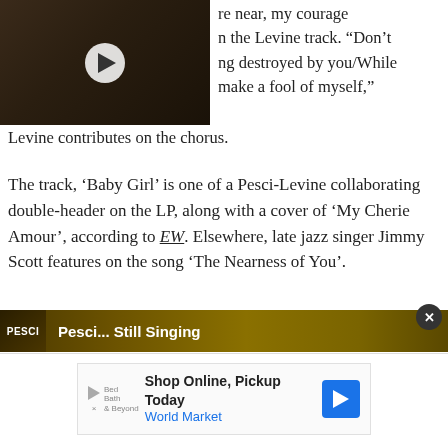[Figure (screenshot): Video thumbnail showing a person with long dark hair, with a white circular play button overlay]
re near, my courage
n the Levine track. “Don’t
g destroyed by you/While
make a fool of myself,” Levine contributes on the chorus.
The track, ‘Baby Girl’ is one of a Pesci-Levine collaborating double-header on the LP, along with a cover of ‘My Cherie Amour’, according to EW. Elsewhere, late jazz singer Jimmy Scott features on the song ‘The Nearness of You’.
Stream the album, below.
[Figure (screenshot): Album embed strip showing Pesci... Still Singing album cover thumbnail with golden/brown background]
[Figure (screenshot): Advertisement banner: Shop Online, Pickup Today - World Market with navigation arrow icon]